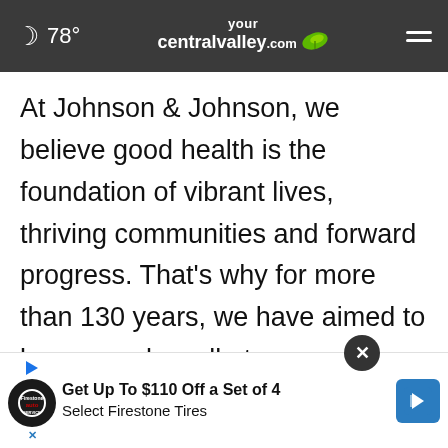☽ 78° yourcentralvalley.com ≡
At Johnson & Johnson, we believe good health is the foundation of vibrant lives, thriving communities and forward progress. That's why for more than 130 years, we have aimed to keep people well at every age and every stage of life. Today, as the world's largest and most broadly-based healthcare company, we are committed to using our reach and size for good. We strive to improve access and affordability, create healthier communities, and put a healthy mind,
[Figure (other): Advertisement banner: Get Up To $110 Off a Set of 4 Select Firestone Tires, with Firestone auto logo and navigation arrow icon. Close button (X) overlaid.]